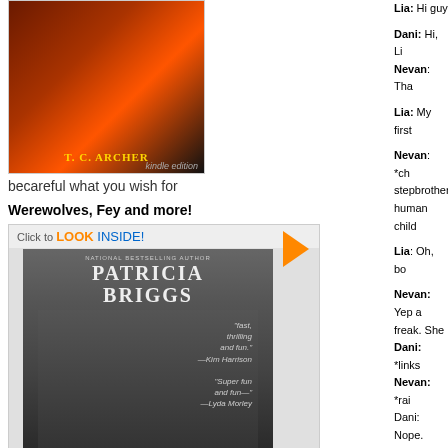[Figure (photo): Book cover for T.C. Archer title with Kindle edition label, dark red/orange background]
becareful what you wish for
Werewolves, Fey and more!
[Figure (photo): Amazon book cover for 'Moon Called' by Patricia Briggs, Patricia Briggs national bestselling author, with 'Click to LOOK INSIDE!' banner and arrow, kindle edition label]
Action and romance
Lia: Hi guy
Dani: Hi, Li
Nevan: Tha
Lia: My first
Nevan: *ch stepbrothers human child
Lia: Oh, bo
Nevan: Yep a freak. She
Dani: *links
Nevan: *ra
Dani: Nope.
*Nevan cup
Lia: *I clear
*The couple